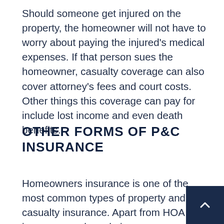Should someone get injured on the property, the homeowner will not have to worry about paying the injured's medical expenses. If that person sues the homeowner, casualty coverage can also cover attorney's fees and court costs. Other things this coverage can pay for include lost income and even death benefits.
OTHER FORMS OF P&C INSURANCE
Homeowners insurance is one of the most common types of property and casualty insurance. Apart from HOA insurance and condo insurance discussed above, there are also other types, though they may not necessarily relate to all homeow...